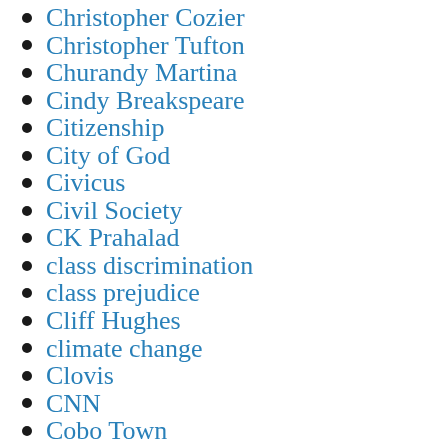Christopher Cozier
Christopher Tufton
Churandy Martina
Cindy Breakspeare
Citizenship
City of God
Civicus
Civil Society
CK Prahalad
class discrimination
class prejudice
Cliff Hughes
climate change
Clovis
CNN
Cobo Town